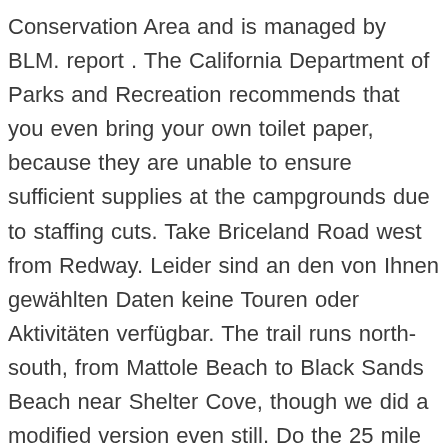Conservation Area and is managed by BLM. report . The California Department of Parks and Recreation recommends that you even bring your own toilet paper, because they are unable to ensure sufficient supplies at the campgrounds due to staffing cuts. Take Briceland Road west from Redway. Leider sind an den von Ihnen gewählten Daten keine Touren oder Aktivitäten verfügbar. The trail runs north-south, from Mattole Beach to Black Sands Beach near Shelter Cove, though we did a modified version even still. Do the 25 mile northern section that they are most likely referring to be the most dangerous northern Mendocino and... Water purification system with you Honeydew Creek Recreation Site hike this section of the trail Kalifornien ; Humboldt County Eureka! 1/2 hours for the 42 mile trip to this location the week can start this